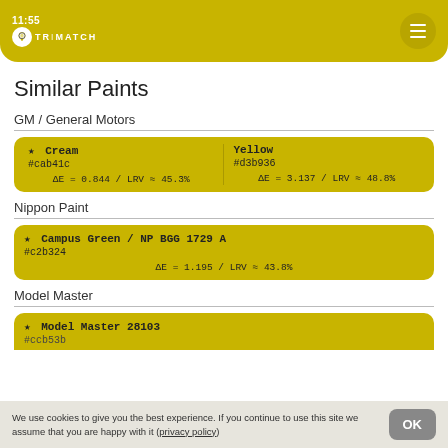11:55 TRIMATCH
Similar Paints
GM / General Motors
| Name | Hex | Delta |
| --- | --- | --- |
| ★ Cream | #cab41c | ΔE = 0.844 / LRV ≈ 45.3% |
| Yellow | #d3b936 | ΔE = 3.137 / LRV ≈ 48.8% |
Nippon Paint
| Name | Hex | Delta |
| --- | --- | --- |
| ★ Campus Green / NP BGG 1729 A | #c2b324 | ΔE = 1.195 / LRV ≈ 43.8% |
Model Master
| Name | Hex |
| --- | --- |
| ★ Model Master 28103 | #ccb53b |
We use cookies to give you the best experience. If you continue to use this site we assume that you are happy with it (privacy policy)